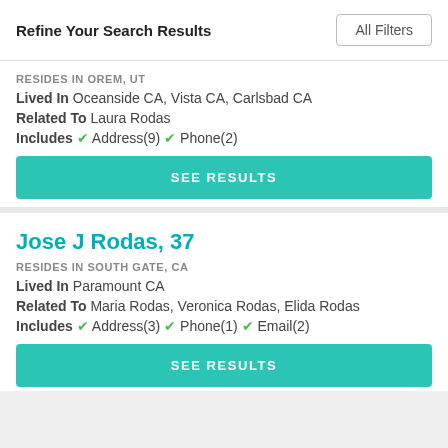Refine Your Search Results  All Filters
RESIDES IN OREM, UT
Lived In Oceanside CA, Vista CA, Carlsbad CA
Related To Laura Rodas
Includes ✓ Address(9) ✓ Phone(2)
SEE RESULTS
Jose J Rodas, 37
RESIDES IN SOUTH GATE, CA
Lived In Paramount CA
Related To Maria Rodas, Veronica Rodas, Elida Rodas
Includes ✓ Address(3) ✓ Phone(1) ✓ Email(2)
SEE RESULTS